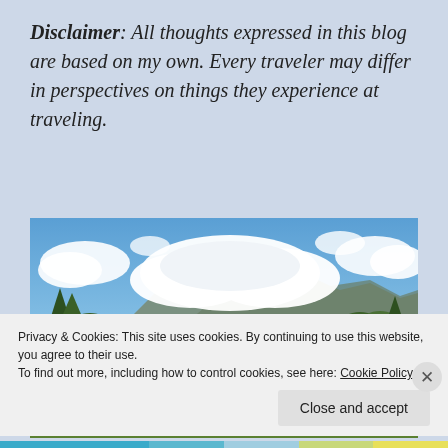Disclaimer: All thoughts expressed in this blog are based on my own. Every traveler may differ in perspectives on things they experience at traveling.
[Figure (photo): Landscape photo showing a wide green field in the foreground, trees in the middle distance, mountains in the background, and a dramatic sky with large white cumulus clouds on a blue sky.]
Privacy & Cookies: This site uses cookies. By continuing to use this website, you agree to their use.
To find out more, including how to control cookies, see here: Cookie Policy